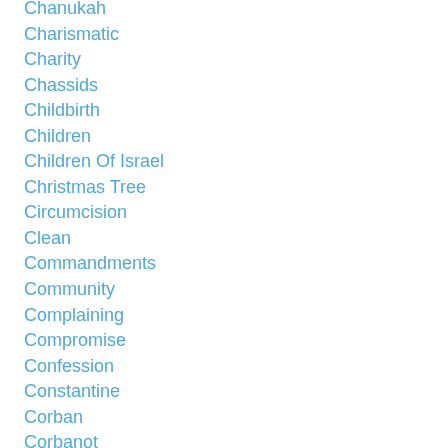Chanukah
Charismatic
Charity
Chassids
Childbirth
Children
Children Of Israel
Christmas Tree
Circumcision
Clean
Commandments
Community
Complaining
Compromise
Confession
Constantine
Corban
Corbanot
Corinthians
Covenant
Covering